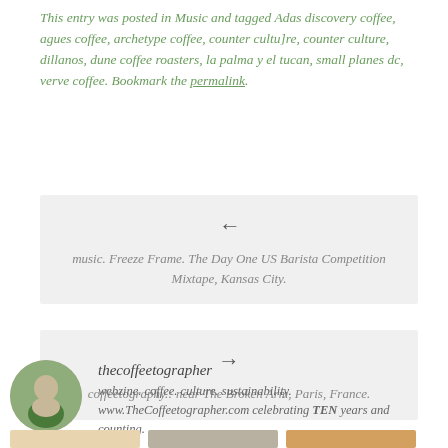This entry was posted in Music and tagged Adas discovery coffee, agues coffee, archetype coffee, counter cultu]re, counter culture, dillanos, dune coffee roasters, la palma y el tucan, small planes dc, verve coffee. Bookmark the permalink.
← music. Freeze Frame. The Day One US Barista Competition Mixtape, Kansas City.
→ coffeetography.: near The Broken Arm, Paris, France.
thecoffeetographer
webzine. coffee. culture. sustainability.
www.TheCoffeetographer.com celebrating TEN years and counting.
[Figure (photo): Three thumbnail images at the bottom of the page]